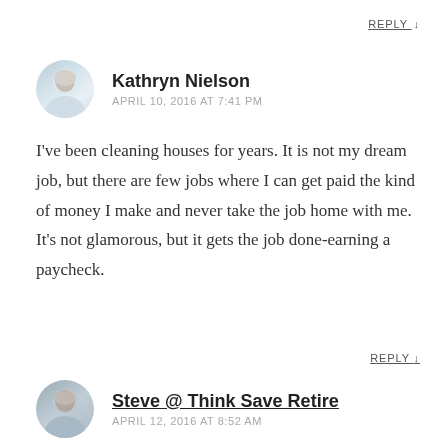REPLY ↓
Kathryn Nielson
APRIL 10, 2016 AT 7:41 PM
I've been cleaning houses for years. It is not my dream job, but there are few jobs where I can get paid the kind of money I make and never take the job home with me. It's not glamorous, but it gets the job done-earning a paycheck.
REPLY ↓
Steve @ Think Save Retire
APRIL 12, 2016 AT 8:52 AM